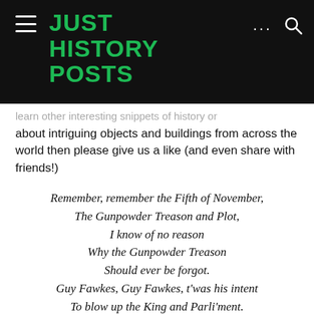JUST HISTORY POSTS
learn other interesting snippets of history or about intriguing objects and buildings from across the world then please give us a like (and even share with friends!)
Remember, remember the Fifth of November,
The Gunpowder Treason and Plot,
I know of no reason
Why the Gunpowder Treason
Should ever be forgot.
Guy Fawkes, Guy Fawkes, t'was his intent
To blow up the King and Parli'ment.
Three-score barrels of powder below,
Poor old England to overthrow;